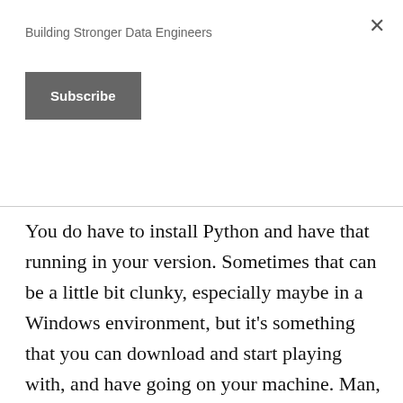Building Stronger Data Engineers
Subscribe
You do have to install Python and have that running in your version. Sometimes that can be a little bit clunky, especially maybe in a Windows environment, but it’s something that you can download and start playing with, and have going on your machine. Man, probably in less than five minutes. Maybe I should do a video on that, but you can go ahead, download that, and be up and running, and start running your own code. Huge community support. There’s a ton of things